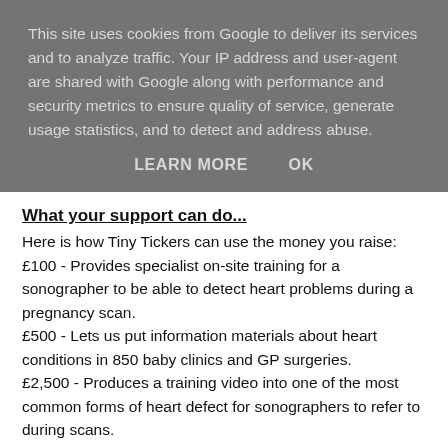This site uses cookies from Google to deliver its services and to analyze traffic. Your IP address and user-agent are shared with Google along with performance and security metrics to ensure quality of service, generate usage statistics, and to detect and address abuse.
LEARN MORE   OK
What your support can do...
Here is how Tiny Tickers can use the money you raise: £100 - Provides specialist on-site training for a sonographer to be able to detect heart problems during a pregnancy scan. £500 - Lets us put information materials about heart conditions in 850 baby clinics and GP surgeries. £2,500 - Produces a training video into one of the most common forms of heart defect for sonographers to refer to during scans.
For more information please contact Jenni Cowlishaw – Senior Fundraiser;  jenni@tinytickers.org Tiny Tickers Registered charity number 1078114 – 76,